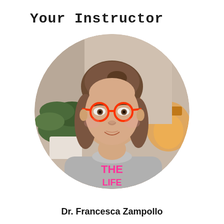Your Instructor
[Figure (photo): Circular portrait photo of Dr. Francesca Zampollo, a woman with shoulder-length brown hair wearing round red/orange glasses and a grey sweater with pink text reading 'THE...' She is smiling. Background shows a plant and warm lighting.]
Dr. Francesca Zampollo